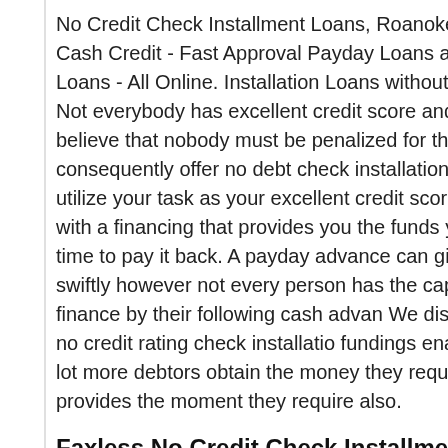No Credit Check Installment Loans, Roanoke, VA, National Cash Credit - Fast Approval Payday Loans and also No Credit Loans - All Online. Installation Loans without a Credit Check. Not everybody has excellent credit score and also our team believe that nobody must be penalized for that. We consequently offer no debt check installation lendings which utilize your task as your excellent credit scores and also give you with a financing that provides you the funds you require and also time to pay it back. A payday advance can give cash money swiftly however not every person has the capability to repay a finance by their following cash advance. We discover that offering no credit rating check installation fundings enables us to aid a lot more debtors obtain the money they require and also provides the moment they require also.
Faxless No Credit Check Installment Loans.
It can be so tough nowadays to situate a facsimile machine and also side with such advancement then the...